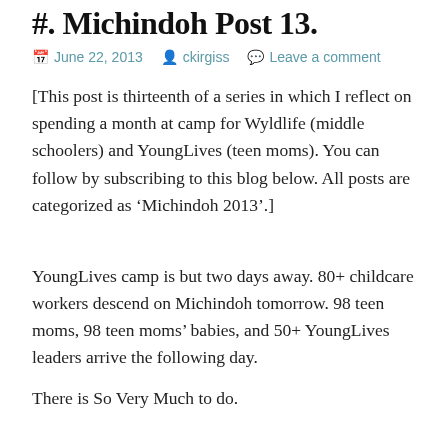#. Michindoh Post 13.
June 22, 2013   ckirgiss   Leave a comment
[This post is thirteenth of a series in which I reflect on spending a month at camp for Wyldlife (middle schoolers) and YoungLives (teen moms). You can follow by subscribing to this blog below. All posts are categorized as ‘Michindoh 2013’.]
YoungLives camp is but two days away. 80+ childcare workers descend on Michindoh tomorrow. 98 teen moms, 98 teen moms’ babies, and 50+ YoungLives leaders arrive the following day.
There is So Very Much to do.